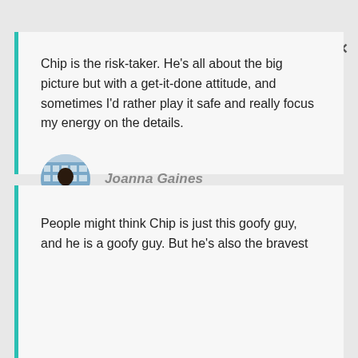Chip is the risk-taker. He's all about the big picture but with a get-it-done attitude, and sometimes I'd rather play it safe and really focus my energy on the details.
Joanna Gaines
[Figure (photo): Circular avatar photo of Joanna Gaines]
People might think Chip is just this goofy guy, and he is a goofy guy. But he's also the bravest